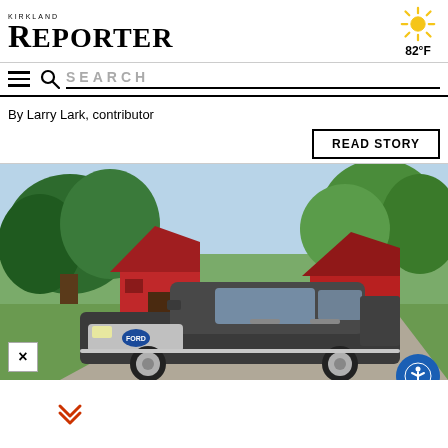KIRKLAND REPORTER — 82°F
By Larry Lark, contributor
READ STORY
[Figure (photo): A dark grey Ford F-150 pickup truck parked on a driveway in front of a rural setting with a red barn and large trees.]